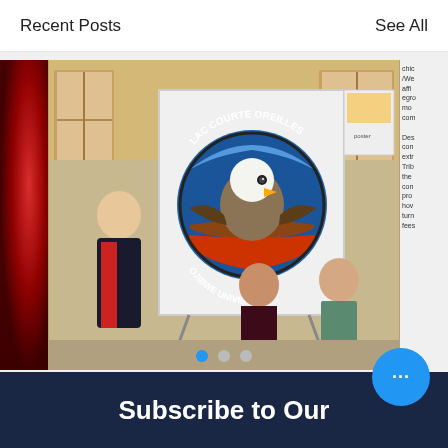Recent Posts    See All
[Figure (photo): Photo of three people standing in front of a whiteboard displaying the Lac Courte Oreilles Ojibwe University logo/seal. Left: older man in suit, center: young woman with dark hair, right: woman in blazer. Room has windows and posters.]
chic /We affi egro mo com Des con extr Trib the con pro hov turn fees
Lac Courte Oreilles Ojibwe College no...
[Figure (other): Heart (like) icon outline in red/coral color]
[Figure (other): Pagination dots: first dot blue (active), second and third dots grey (inactive)]
[Figure (other): Grey scroll-to-top button with white upward caret arrow]
Subscribe to Our
[Figure (other): Blue circular button with three white dots (more/menu button)]